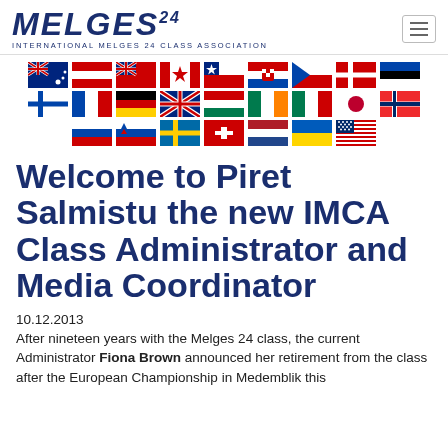MELGES 24 — INTERNATIONAL MELGES 24 CLASS ASSOCIATION
[Figure (illustration): Grid of national flags representing member nations of the International Melges 24 Class Association, arranged in three rows.]
Welcome to Piret Salmistu the new IMCA Class Administrator and Media Coordinator
10.12.2013
After nineteen years with the Melges 24 class, the current Administrator Fiona Brown announced her retirement from the class after the European Championship in Medemblik this